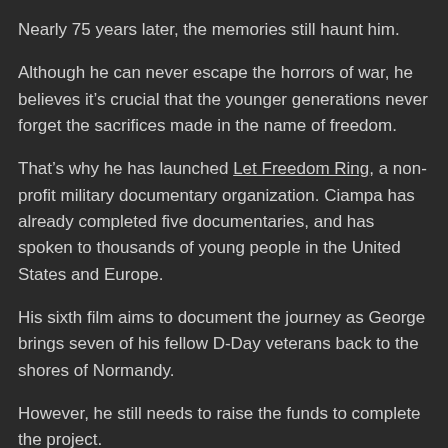Nearly 75 years later, the memories still haunt him.
Although he can never escape the horrors of war, he believes it's crucial that the younger generations never forget the sacrifices made in the name of freedom.
That's why he has launched Let Freedom Ring, a non-profit military documentary organization. Ciampa has already completed five documentaries, and has spoken to thousands of young people in the United States and Europe.
His sixth film aims to document the journey as George brings seven of his fellow D-Day veterans back to the shores of Normandy.
However, he still needs to raise the funds to complete the project.
“I’ve been breaking my back trying to raise the funds to do this,” Ciampa said. “I’m about 20, 25 thousand dollars out, and if I have